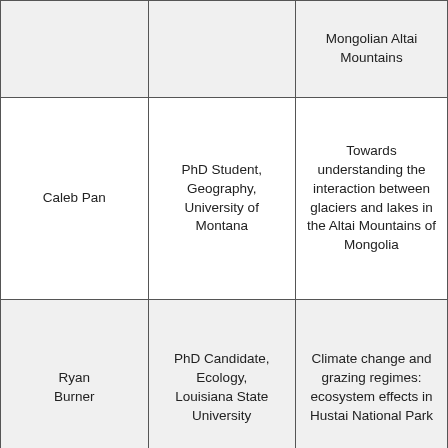|  |  | Mongolian Altai Mountains |
| Caleb Pan | PhD Student, Geography, University of Montana | Towards understanding the interaction between glaciers and lakes in the Altai Mountains of Mongolia |
| Ryan Burner | PhD Candidate, Ecology, Louisiana State University | Climate change and grazing regimes: ecosystem effects in Hustai National Park |
|  | PhD Candidate, | Golden Mountain Iron Heap: Landscape |